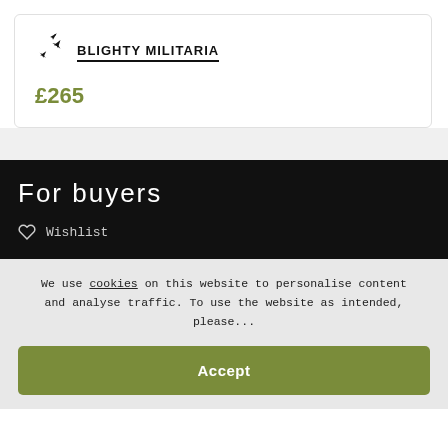[Figure (logo): Blighty Militaria logo with airplane icons and text 'BLIGHTY MILITARIA' underlined]
£265
For buyers
Wishlist
We use cookies on this website to personalise content and analyse traffic. To use the website as intended, please...
Accept